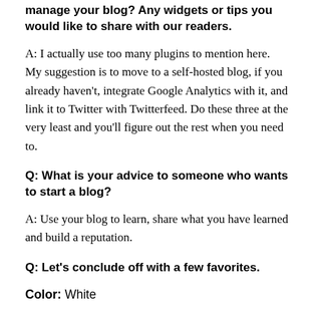manage your blog? Any widgets or tips you would like to share with our readers.
A: I actually use too many plugins to mention here. My suggestion is to move to a self-hosted blog, if you already haven't, integrate Google Analytics with it, and link it to Twitter with Twitterfeed. Do these three at the very least and you'll figure out the rest when you need to.
Q: What is your advice to someone who wants to start a blog?
A: Use your blog to learn, share what you have learned and build a reputation.
Q: Let's conclude off with a few favorites.
Color: White